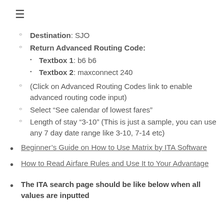Destination: SJO
Return Advanced Routing Code:
Textbox 1: b6 b6
Textbox 2: maxconnect 240
(Click on Advanced Routing Codes link to enable advanced routing code input)
Select “See calendar of lowest fares”
Length of stay “3-10” (This is just a sample, you can use any 7 day date range like 3-10, 7-14 etc)
Beginner’s Guide on How to Use Matrix by ITA Software
How to Read Airfare Rules and Use It to Your Advantage
The ITA search page should be like below when all values are inputted